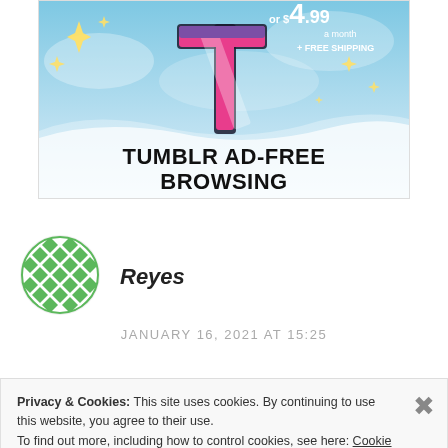[Figure (illustration): Tumblr ad-free browsing advertisement banner showing the Tumblr 't' logo with sparkles on a blue sky background, text reading 'or $4.99 a month + FREE SHIPPING' and 'TUMBLR AD-FREE BROWSING']
REPORT THIS AD
[Figure (illustration): Green and white diamond/checker pattern avatar for user Reyes]
Reyes
JANUARY 16, 2021 AT 15:25
Privacy & Cookies: This site uses cookies. By continuing to use this website, you agree to their use.
To find out more, including how to control cookies, see here: Cookie Policy
Close and accept